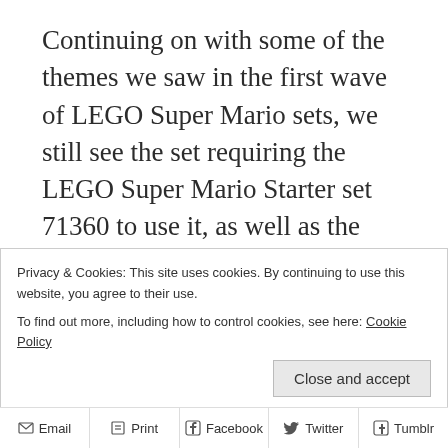Continuing on with some of the themes we saw in the first wave of LEGO Super Mario sets, we still see the set requiring the LEGO Super Mario Starter set 71360 to use it, as well as the dependence on the App as a way to download instructions, as well as watch short videos outlining some of the more subtle aspects of gameplay. The App was updated to incorporate the new sets on the 18th of December, so it has been a bit of a crash course, both in building and getting to experience the functionality of these sets.
Privacy & Cookies: This site uses cookies. By continuing to use this website, you agree to their use.
To find out more, including how to control cookies, see here: Cookie Policy
Close and accept
Email  Print  Facebook  Twitter  Tumblr